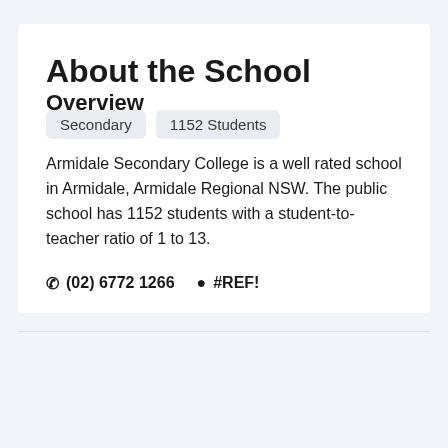About the School
Overview
Secondary
1152 Students
Armidale Secondary College is a well rated school in Armidale, Armidale Regional NSW. The public school has 1152 students with a student-to-teacher ratio of 1 to 13.
(02) 6772 1266   #REF!